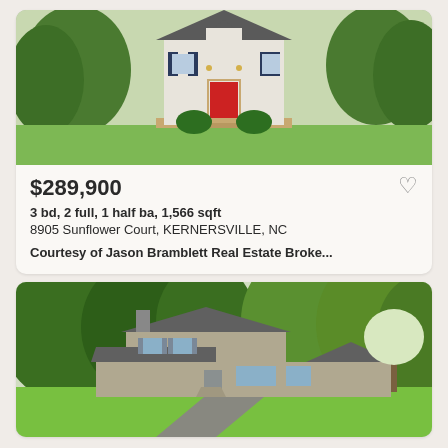[Figure (photo): Front view of a white colonial-style two-story house with red front door, black shutters, and surrounding green trees and lawn]
$289,900
3 bd, 2 full, 1 half ba, 1,566 sqft
8905 Sunflower Court, KERNERSVILLE, NC
Courtesy of Jason Bramblett Real Estate Broke...
[Figure (photo): Front view of a split-level ranch-style house with gray siding, surrounded by lush green trees, with a long driveway and green lawn]